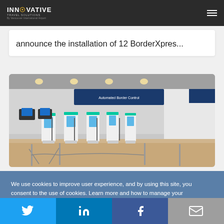INNOVATIVE TRAVEL SOLUTIONS by Vancouver International Airport
announce the installation of 12 BorderXpres...
[Figure (photo): Airport self-service kiosk area with BorderXpress kiosks and 'Try Our New Smart Borders' signage]
We use cookies to improve user experience, and by using this site, you consent to the use of cookies. Learn more and how to manage your preferences on our Privacy page.
Twitter | LinkedIn | Facebook | Email